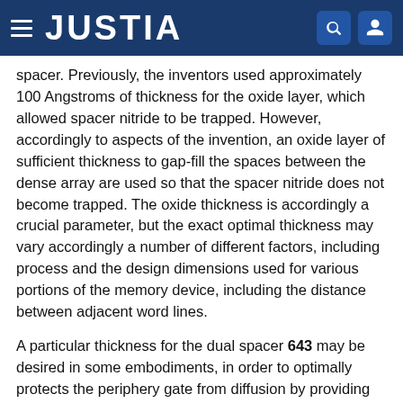JUSTIA
spacer. Previously, the inventors used approximately 100 Angstroms of thickness for the oxide layer, which allowed spacer nitride to be trapped. However, accordingly to aspects of the invention, an oxide layer of sufficient thickness to gap-fill the spaces between the dense array are used so that the spacer nitride does not become trapped. The oxide thickness is accordingly a crucial parameter, but the exact optimal thickness may vary accordingly a number of different factors, including process and the design dimensions used for various portions of the memory device, including the distance between adjacent word lines.
A particular thickness for the dual spacer 643 may be desired in some embodiments, in order to optimally protects the periphery gate from diffusion by providing the proper amount of offset during the LDD implant, and the optimal thickness of the dual spacer 643 may be